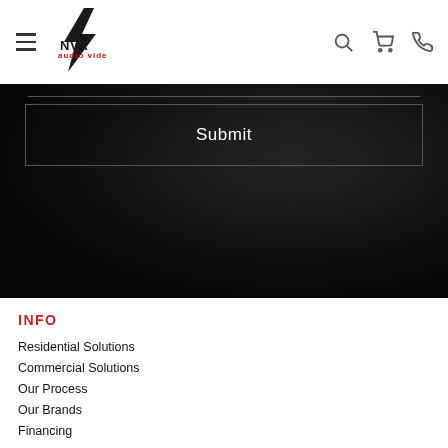[Figure (logo): AVX Audio Video Extremes logo with stylized lightning bolt]
Submit
INFO
Residential Solutions
Commercial Solutions
Our Process
Our Brands
Financing